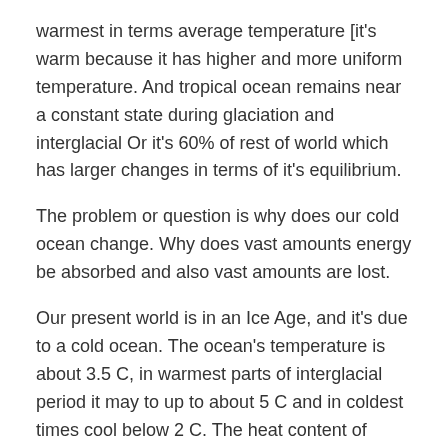warmest in terms average temperature [it's warm because it has higher and more uniform temperature. And tropical ocean remains near a constant state during glaciation and interglacial Or it's 60% of rest of world which has larger changes in terms of it's equilibrium.
The problem or question is why does our cold ocean change. Why does vast amounts energy be absorbed and also vast amounts are lost.
Our present world is in an Ice Age, and it's due to a cold ocean. The ocean's temperature is about 3.5 C, in warmest parts of interglacial period it may to up to about 5 C and in coldest times cool below 2 C. The heat content of ocean of 1 degree, is equal to entire atmosphere being 1000 K.
During our interglacial period before the present...